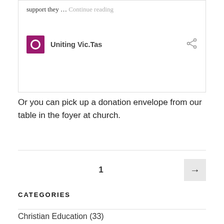support they … Continue reading
Uniting Vic.Tas
Or you can pick up a donation envelope from our table in the foyer at church.
1
CATEGORIES
Christian Education (33)